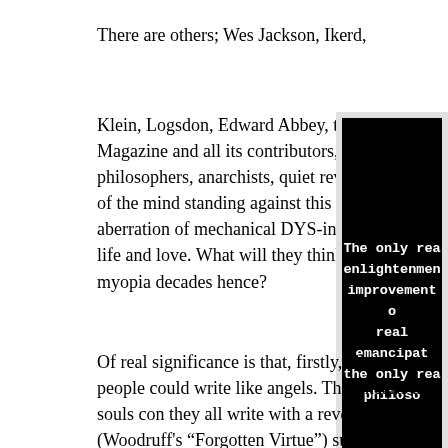There are others; Wes Jackson, Ikerd,
Klein, Logsdon, Edward Abbey, the Orion Magazine and all its contributors, poets, philosophers, anarchists, quiet revolutionaries of the mind standing against this modern aberration of mechanical DYS-integration of life and love. What will they think of our myopia decades hence?
[Figure (photo): Black and white image with white monospace text reading: 'The only real enlightenment improvement of real emancipat the only rea philoso']
Of real significance is that, firstly, all these people could write like angels. Their hearts and souls con they all write with a reverence (Woodruff's "Forgotten Virtue") suggests some spiritual connection. Do they channel? Years ago would have scoffed, but I have felt something like that, and a se incoming energy that you could call a collective unconscious, o